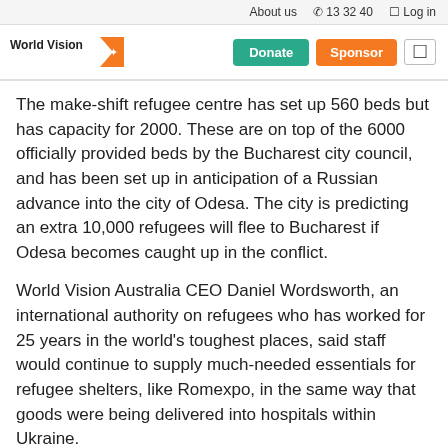About us  ☎ 13 32 40  ☐ Log in
[Figure (logo): World Vision logo with orange triangle/arrow and star]
The make-shift refugee centre has set up 560 beds but has capacity for 2000. These are on top of the 6000 officially provided beds by the Bucharest city council, and has been set up in anticipation of a Russian advance into the city of Odesa. The city is predicting an extra 10,000 refugees will flee to Bucharest if Odesa becomes caught up in the conflict.
World Vision Australia CEO Daniel Wordsworth, an international authority on refugees who has worked for 25 years in the world's toughest places, said staff would continue to supply much-needed essentials for refugee shelters, like Romexpo, in the same way that goods were being delivered into hospitals within Ukraine.